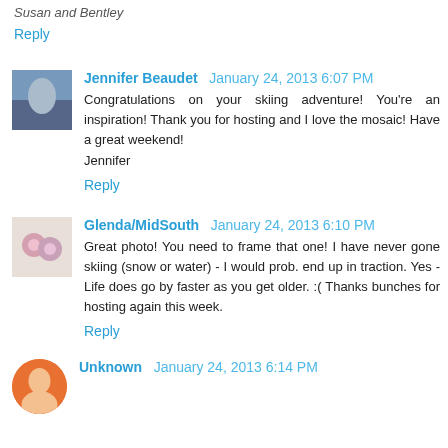Susan and Bentley
Reply
Jennifer Beaudet   January 24, 2013 6:07 PM
Congratulations on your skiing adventure! You're an inspiration! Thank you for hosting and I love the mosaic! Have a great weekend!
Jennifer
Reply
Glenda/MidSouth   January 24, 2013 6:10 PM
Great photo! You need to frame that one! I have never gone skiing (snow or water) - I would prob. end up in traction. Yes - Life does go by faster as you get older. :( Thanks bunches for hosting again this week.
Reply
Unknown   January 24, 2013 6:14 PM